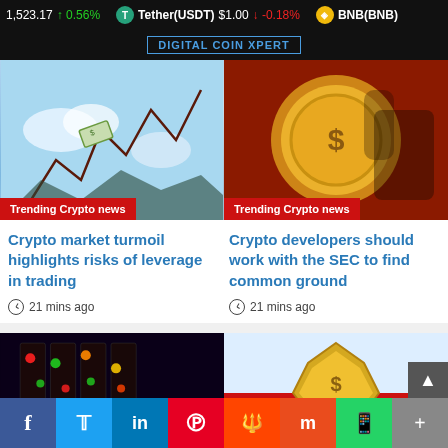1,523.17 ↑ 0.56%  Tether(USDT) $1.00 ↓ -0.18%  BNB(BNB)
DIGITAL COIN XPERT
[Figure (photo): Trending Crypto news – stock chart with money flying through clouds]
[Figure (photo): Trending Crypto news – golden coin with hand illustration]
Crypto market turmoil highlights risks of leverage in trading
21 mins ago
Crypto developers should work with the SEC to find common ground
21 mins ago
[Figure (photo): Server racks with colorful lights – crypto mining or data center]
[Figure (photo): Golden coin on snowy background with red banner]
f  Twitter  in  Pinterest  Reddit  Mix  WhatsApp  +